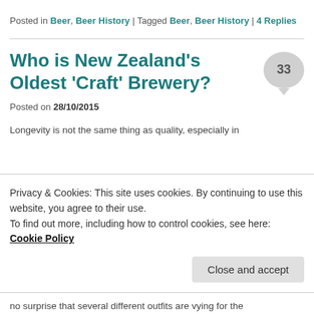Posted in Beer, Beer History | Tagged Beer, Beer History | 4 Replies
Who is New Zealand’s Oldest ‘Craft’ Brewery?
Posted on 28/10/2015
Longevity is not the same thing as quality, especially in
Privacy & Cookies: This site uses cookies. By continuing to use this website, you agree to their use. To find out more, including how to control cookies, see here: Cookie Policy
no surprise that several different outfits are vying for the